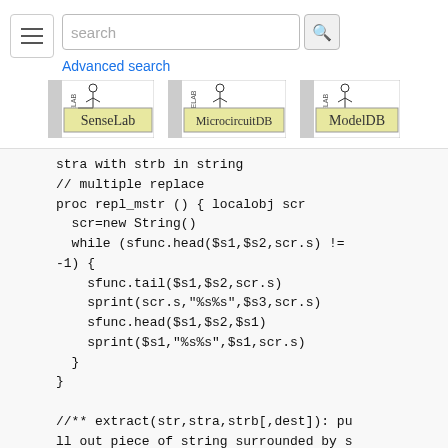search | Advanced search | SenseLab | MicrocircuitDB | ModelDB
[Figure (logo): SenseLab logo]
[Figure (logo): MicrocircuitDB logo]
[Figure (logo): ModelDB logo]
stra with strb in string
// multiple replace
proc repl_mstr () { localobj scr
  scr=new String()
  while (sfunc.head($s1,$s2,scr.s) != -1) {
    sfunc.tail($s1,$s2,scr.s)
    sprint(scr.s,"%s%s",$s3,scr.s)
    sfunc.head($s1,$s2,$s1)
    sprint($s1,"%s%s",$s1,scr.s)
  }
}

//** extract(str,stra,strb[,dest]): pull out piece of string surrounded by stra,strb
obfunc str_extract() { local b,e,err localobj scr
  scr=new String2() err=0
b=sfunc.tail($s1,$s2,scr.s) // (